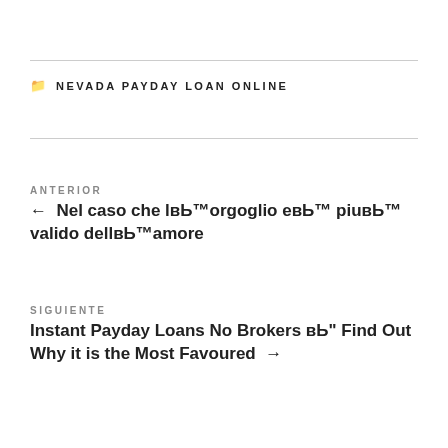NEVADA PAYDAY LOAN ONLINE
ANTERIOR
← Nel caso che lвЂ™orgoglio eвЂ™ piuвЂ™ valido dellвЂ™amore
SIGUIENTE
Instant Payday Loans No Brokers вЂ" Find Out Why it is the Most Favoured →